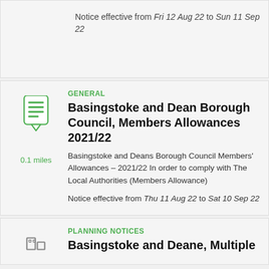Notice effective from Fri 12 Aug 22 to Sun 11 Sep 22
GENERAL
Basingstoke and Dean Borough Council, Members Allowances 2021/22
Basingstoke and Deans Borough Council Members' Allowances – 2021/22 In order to comply with The Local Authorities (Members Allowance)
Notice effective from Thu 11 Aug 22 to Sat 10 Sep 22
PLANNING NOTICES
Basingstoke and Deane, Multiple